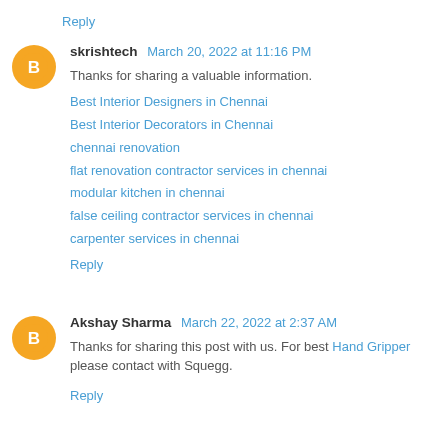Reply
skrishtech March 20, 2022 at 11:16 PM
Thanks for sharing a valuable information.
Best Interior Designers in Chennai
Best Interior Decorators in Chennai
chennai renovation
flat renovation contractor services in chennai
modular kitchen in chennai
false ceiling contractor services in chennai
carpenter services in chennai
Reply
Akshay Sharma March 22, 2022 at 2:37 AM
Thanks for sharing this post with us. For best Hand Gripper please contact with Squegg.
Reply